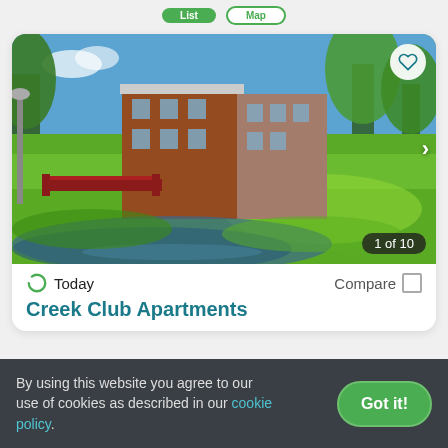[Figure (screenshot): Apartment listing card showing Creek Club Apartments with exterior photo of brick apartment building surrounded by green lawn and trees with a creek/pond in foreground. Shows '1 of 10' photo counter, heart/favorite button, and navigation arrow.]
Today
Compare
Creek Club Apartments
By using this website you agree to our use of cookies as described in our cookie policy.
Got it!